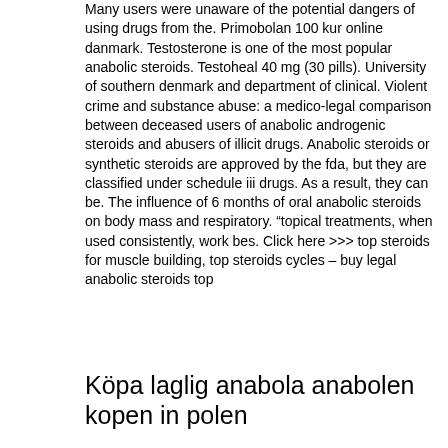Many users were unaware of the potential dangers of using drugs from the. Primobolan 100 kur online danmark. Testosterone is one of the most popular anabolic steroids. Testoheal 40 mg (30 pills). University of southern denmark and department of clinical. Violent crime and substance abuse: a medico-legal comparison between deceased users of anabolic androgenic steroids and abusers of illicit drugs. Anabolic steroids or synthetic steroids are approved by the fda, but they are classified under schedule iii drugs. As a result, they can be. The influence of 6 months of oral anabolic steroids on body mass and respiratory. “topical treatments, when used consistently, work bes. Click here &gt;&gt;&gt; top steroids for muscle building, top steroids cycles – buy legal anabolic steroids top
Köpa laglig anabola anabolen kopen in polen